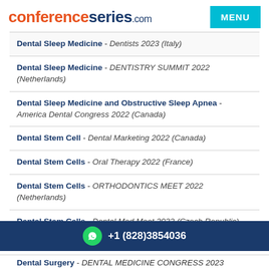conferenceseries.com  MENU
Dental Sleep Medicine - Dentists 2023 (Italy)
Dental Sleep Medicine - DENTISTRY SUMMIT 2022 (Netherlands)
Dental Sleep Medicine and Obstructive Sleep Apnea - America Dental Congress 2022 (Canada)
Dental Stem Cell - Dental Marketing 2022 (Canada)
Dental Stem Cells - Oral Therapy 2022 (France)
Dental Stem Cells - ORTHODONTICS MEET 2022 (Netherlands)
Dental Stem Cells - Dental Med Meet 2022 (Czech Republic)
Dental Stem Cells - DENTAL ORAL CARE 2023 (UAE)
+1 (828)3854036
Dental Surgery - DENTAL MEDICINE CONGRESS 2023 (Netherlands)